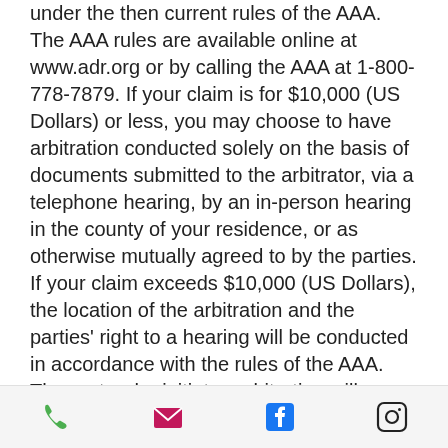under the then current rules of the AAA. The AAA rules are available online at www.adr.org or by calling the AAA at 1-800-778-7879. If your claim is for $10,000 (US Dollars) or less, you may choose to have arbitration conducted solely on the basis of documents submitted to the arbitrator, via a telephone hearing, by an in-person hearing in the county of your residence, or as otherwise mutually agreed to by the parties. If your claim exceeds $10,000 (US Dollars), the location of the arbitration and the parties' right to a hearing will be conducted in accordance with the rules of the AAA.
The party who initiates arbitration will pay all filing, administration, and arbitrator fees. THE MAKING OF CLAIMS OR RESOLUTION OF
[phone] [email] [facebook] [instagram]